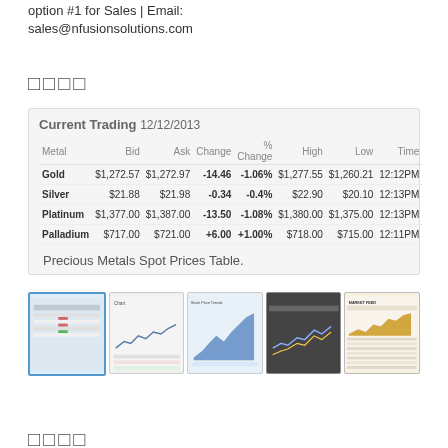option #1 for Sales | Email: sales@nfusionsolutions.com
□□□□
| Metal | Bid | Ask | Change | % Change | High | Low | Time |
| --- | --- | --- | --- | --- | --- | --- | --- |
| Gold | $1,272.57 | $1,272.97 | -14.46 | -1.06% | $1,277.55 | $1,260.21 | 12:12PM |
| Silver | $21.88 | $21.98 | -0.34 | -0.4% | $22.90 | $20.10 | 12:13PM |
| Platinum | $1,377.00 | $1,387.00 | -13.50 | -1.08% | $1,380.00 | $1,375.00 | 12:13PM |
| Palladium | $717.00 | $721.00 | +6.00 | +1.00% | $718.00 | $715.00 | 12:11PM |
Precious Metals Spot Prices Table.
[Figure (screenshot): Five thumbnail screenshots of the precious metals trading widget in different display modes]
□□□□